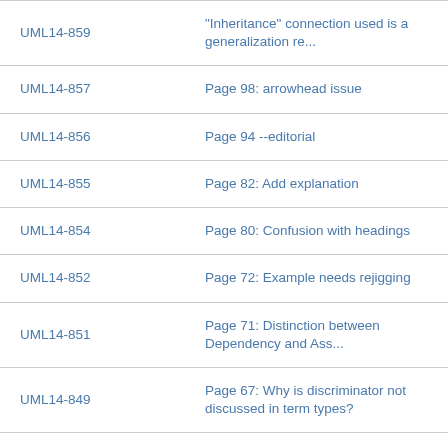| ID | Description |
| --- | --- |
| UML14-859 | "Inheritance" connection used is a generalization re... |
| UML14-857 | Page 98: arrowhead issue |
| UML14-856 | Page 94 --editorial |
| UML14-855 | Page 82: Add explanation |
| UML14-854 | Page 80: Confusion with headings |
| UML14-852 | Page 72: Example needs rejigging |
| UML14-851 | Page 71: Distinction between Dependency and Ass... |
| UML14-849 | Page 67: Why is discriminator not discussed in term types? |
| UML14-850 | Page 68 overlapping |
| UML14-853 | Page 70: Poor choice of arrowhead |